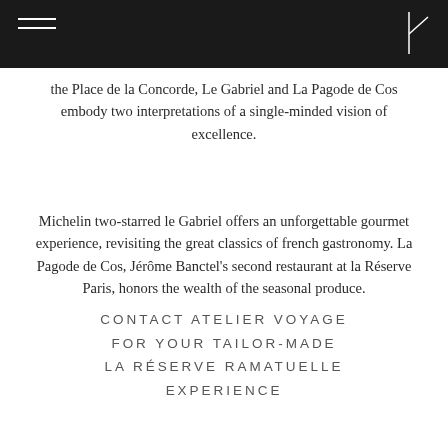the Place de la Concorde, Le Gabriel and La Pagode de Cos embody two interpretations of a single-minded vision of excellence.
Michelin two-starred le Gabriel offers an unforgettable gourmet experience, revisiting the great classics of french gastronomy. La Pagode de Cos, Jérôme Banctel's second restaurant at la Réserve Paris, honors the wealth of the seasonal produce.
CONTACT ATELIER VOYAGE
FOR YOUR TAILOR-MADE
LA RÉSERVE RAMATUELLE
EXPERIENCE